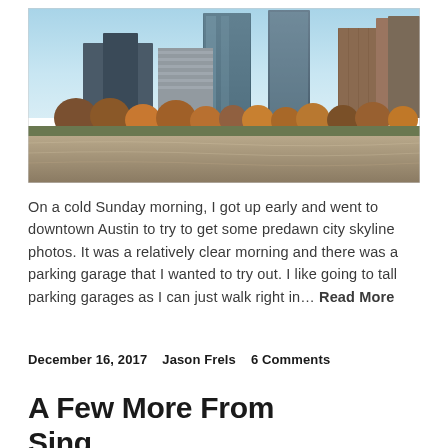[Figure (photo): Aerial city skyline photo of downtown Austin, Texas with river in foreground and tall glass skyscrapers and autumn-colored trees in background under a clear blue sky.]
On a cold Sunday morning, I got up early and went to downtown Austin to try to get some predawn city skyline photos. It was a relatively clear morning and there was a parking garage that I wanted to try out. I like going to tall parking garages as I can just walk right in… Read More
December 16, 2017     Jason Frels     6 Comments
A Few More From Singapore and D...